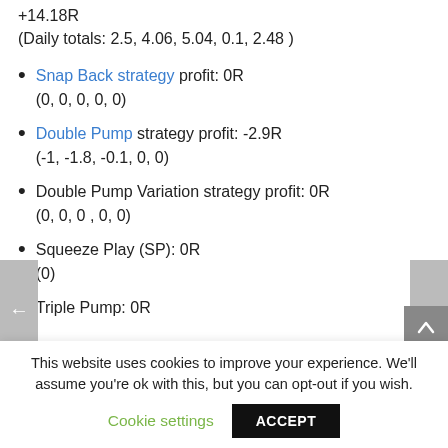+14.18R
(Daily totals: 2.5, 4.06, 5.04, 0.1, 2.48 )
Snap Back strategy profit: 0R
(0, 0, 0, 0, 0)
Double Pump strategy profit: -2.9R
(-1, -1.8, -0.1, 0, 0)
Double Pump Variation strategy profit: 0R
(0, 0, 0 , 0, 0)
Squeeze Play (SP): 0R
(0)
Triple Pump: 0R
This website uses cookies to improve your experience. We'll assume you're ok with this, but you can opt-out if you wish.
Cookie settings  ACCEPT